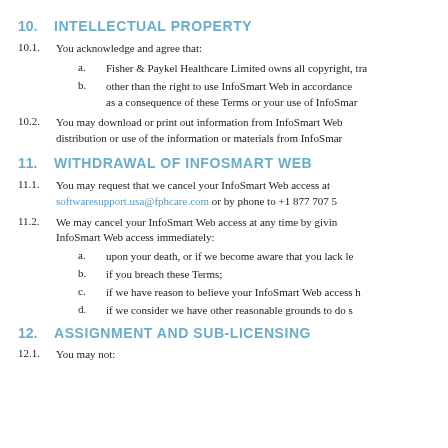10. INTELLECTUAL PROPERTY
10.1. You acknowledge and agree that:
a. Fisher & Paykel Healthcare Limited owns all copyright, tra
b. other than the right to use InfoSmart Web in accordance as a consequence of these Terms or your use of InfoSmar
10.2. You may download or print out information from InfoSmart Web distribution or use of the information or materials from InfoSmar
11. WITHDRAWAL OF INFOSMART WEB
11.1. You may request that we cancel your InfoSmart Web access at softwaresupport.usa@fphcare.com or by phone to +1 877 707 5
11.2. We may cancel your InfoSmart Web access at any time by givin InfoSmart Web access immediately:
a. upon your death, or if we become aware that you lack le
b. if you breach these Terms;
c. if we have reason to believe your InfoSmart Web access h
d. if we consider we have other reasonable grounds to do s
12. ASSIGNMENT AND SUB-LICENSING
12.1. You may not: